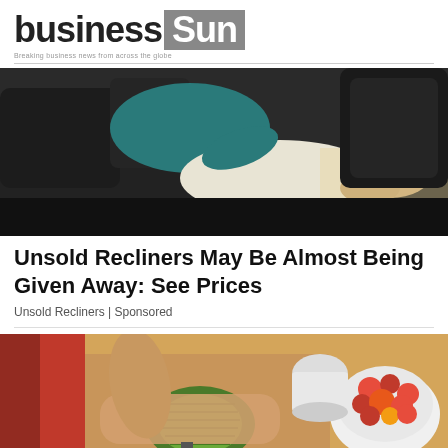[Figure (logo): Business Sun logo — 'business' in bold dark text, 'Sun' in white on grey background, with tagline below]
[Figure (photo): Person lying on a dark leather recliner/sofa wearing teal top and white pants, viewed from above]
Unsold Recliners May Be Almost Being Given Away: See Prices
Unsold Recliners | Sponsored
[Figure (photo): Hands slicing an avocado on a cutting board with a bowl of cherry tomatoes and a jar visible in the background]